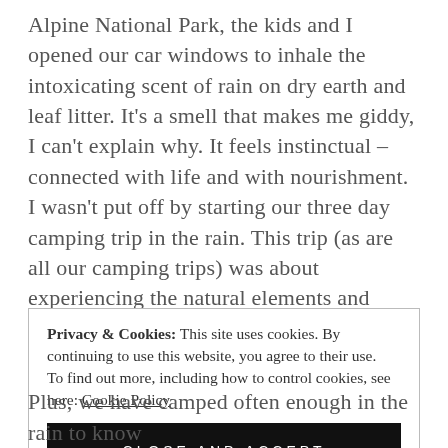Alpine National Park, the kids and I opened our car windows to inhale the intoxicating scent of rain on dry earth and leaf litter. It's a smell that makes me giddy, I can't explain why. It feels instinctual – connected with life and with nourishment. I wasn't put off by starting our three day camping trip in the rain. This trip (as are all our camping trips) was about experiencing the natural elements and developing an appreciation for nature.
Privacy & Cookies: This site uses cookies. By continuing to use this website, you agree to their use. To find out more, including how to control cookies, see here: Cookie Policy [CLOSE AND ACCEPT button]
Plus, we have camped often enough in the rain to know